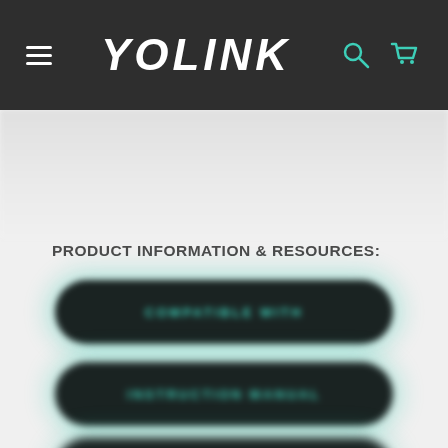YOLINK - Navigation header with hamburger menu, logo, search and cart icons
[Figure (screenshot): Blurred product image area in light gray]
PRODUCT INFORMATION & RESOURCES:
[Figure (screenshot): Dark rounded pill button with teal text reading COMPATIBLE WITH]
[Figure (screenshot): Dark rounded pill button with teal text reading INSTRUCTION MANUAL]
[Figure (screenshot): Partially visible dark rounded pill button at bottom]